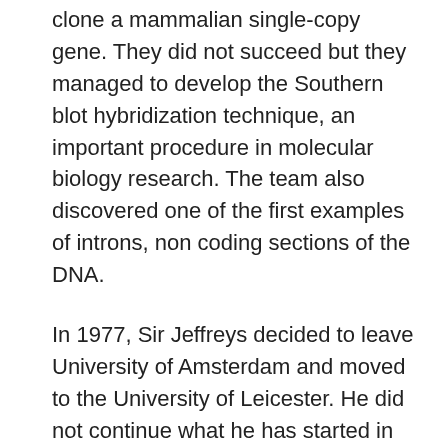clone a mammalian single-copy gene. They did not succeed but they managed to develop the Southern blot hybridization technique, an important procedure in molecular biology research. The team also discovered one of the first examples of introns, non coding sections of the DNA.
In 1977, Sir Jeffreys decided to leave University of Amsterdam and moved to the University of Leicester. He did not continue what he has started in Dr. Flavell's laboratory on mammalian genetics but instead changed his research direction to DNA variation and evolution of gene families. His laboratory was searching on sections of the DNA that are highly variable among humans.